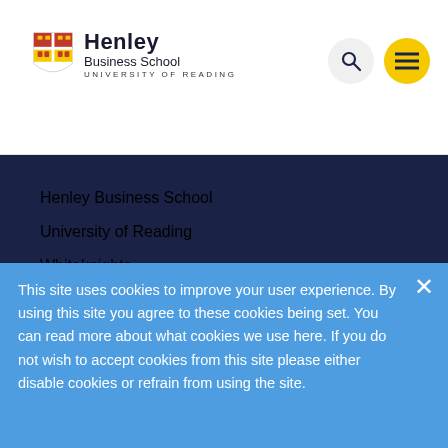[Figure (logo): Henley Business School, University of Reading logo with shield crest]
Henley Business School
University of Reading
Whiteknights
Reading
RG6 6UD
United Kingdom
Maps and directions
ADDRESS
Greenlands campus
This site uses cookies to improve your user experience. By using this site you agree to these cookies being set. You can read more about what cookies we use here. If you do not wish to accept cookies from this site please either disable cookies or refrain from using the site.